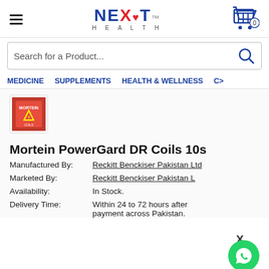NEXT HEALTH - Navigation header with logo, hamburger menu, and cart
Search for a Product...
MEDICINE   SUPPLEMENTS   HEALTH & WELLNESS   CO...
[Figure (photo): Mortein PowerGard DR Coils product thumbnail - red box]
Mortein PowerGard DR Coils 10s
Manufactured By: Reckitt Benckiser Pakistan Ltd
Marketed By: Reckitt Benckiser Pakistan L...
Availability: In Stock.
Delivery Time: Within 24 to 72 hours after payment across Pakistan.